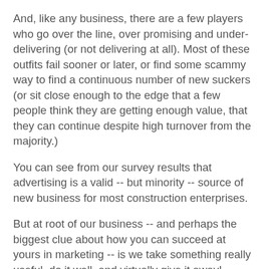And, like any business, there are a few players who go over the line, over promising and under-delivering (or not delivering at all). Most of these outfits fail sooner or later, or find some scammy way to find a continuous number of new suckers (or sit close enough to the edge that a few people think they are getting enough value, that they can continue despite high turnover from the majority.)
You can see from our survey results that advertising is a valid -- but minority -- source of new business for most construction enterprises.
But at root of our business -- and perhaps the biggest clue about how you can succeed at yours in marketing -- is we take something really useful, do it well, and virtually give it away! Google provides a wonderfully effective search engine and we provide editorial content -- information and news about the industry that just is not available elsewhere. For free.
Now, I am not suggesting if you are a drywall contractor that you will be in business long if you give away your services